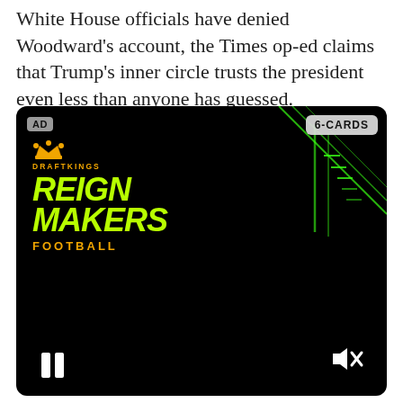White House officials have denied Woodward's account, the Times op-ed claims that Trump's inner circle trusts the president even less than anyone has guessed.
[Figure (other): DraftKings Reign Makers Football video advertisement on a black background with green field lines in the upper right corner. Shows AD badge top-left, 6-CARDS badge top-right, DraftKings crown logo, brand name in orange, REIGN MAKERS in yellow-green italic bold text, FOOTBALL in orange spaced letters. Pause button bottom-left, mute button bottom-right.]